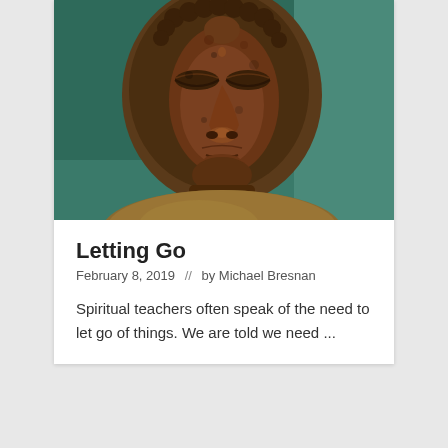[Figure (photo): Close-up photograph of an aged bronze or stone Buddha statue face with closed eyes, weathered brown and rust tones, with a teal/green blurred background and a hint of the shoulder/robe visible at the bottom.]
Letting Go
February 8, 2019  //  by Michael Bresnan
Spiritual teachers often speak of the need to let go of things. We are told we need ...